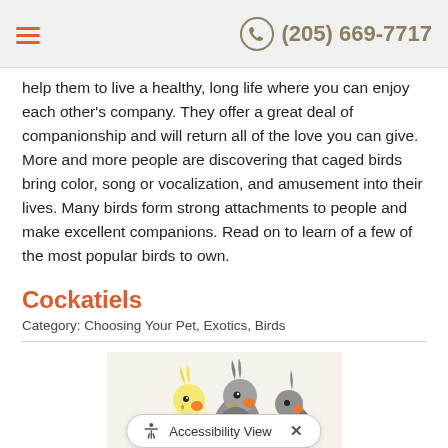(205) 669-7717
help them to live a healthy, long life where you can enjoy each other's company. They offer a great deal of companionship and will return all of the love you can give. More and more people are discovering that caged birds bring color, song or vocalization, and amusement into their lives. Many birds form strong attachments to people and make excellent companions. Read on to learn of a few of the most popular birds to own.
Cockatiels
Category: Choosing Your Pet, Exotics, Birds
[Figure (photo): Three cockatiels perched on a branch — one yellow/white on the left and two grey ones on the right]
Cockatiels are among the most popular pet birds. Small parrots with a variety of color patte... and are... tractive as